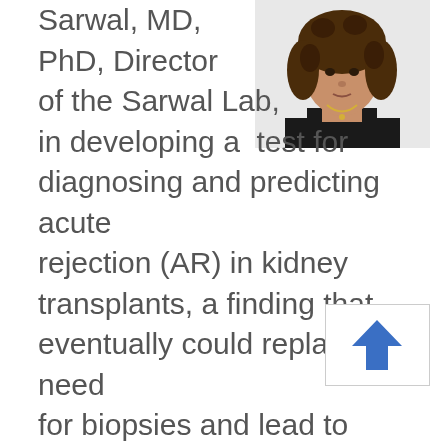[Figure (photo): Portrait photo of a woman with curly brown hair wearing a black top and necklace, against a white background]
Sarwal, MD, PhD, Director of the Sarwal Lab, in developing a  test for diagnosing and predicting acute rejection (AR) in kidney transplants, a finding that eventually could replace the need for biopsies and lead to earlier detection of AR and treatment. 'We have found a set of genes in blood that pick up inflammation and acute rejection in different